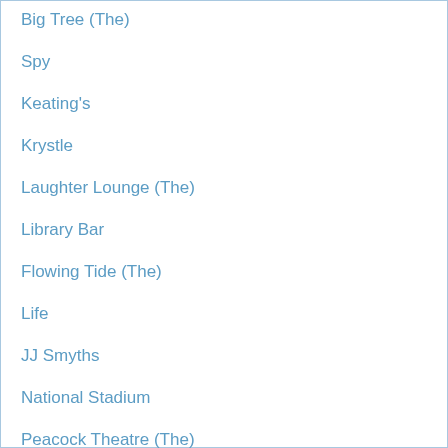Big Tree (The)
Spy
Keating's
Krystle
Laughter Lounge (The)
Library Bar
Flowing Tide (The)
Life
JJ Smyths
National Stadium
Peacock Theatre (The)
Temple Theatre (The)